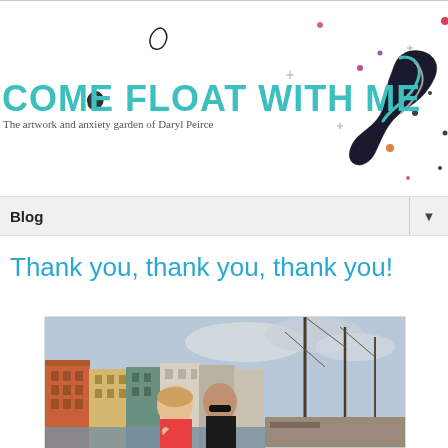COME FLOAT WITH ME
The artwork and anxiety garden of Daryl Peirce
[Figure (illustration): Blog header illustration with decorative splatter/figure artwork on the right side and small teardrop/leaf shapes on the left]
Blog
Thank you, thank you, thank you!
[Figure (photo): Two people (a woman and a man) posing in front of colorful buildings and boats at what appears to be Nyhavn, Copenhagen, Denmark]